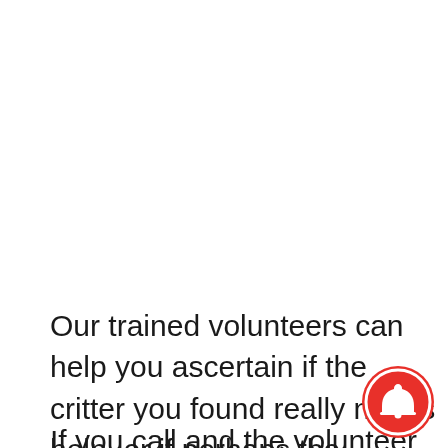Our trained volunteers can help you ascertain if the critter you found really needs help, or if perhaps the mother has just tucked her babies away while out foraging for food.
If you call and the volunteer determines the
[Figure (illustration): Red circular notification bell icon in bottom-right corner]